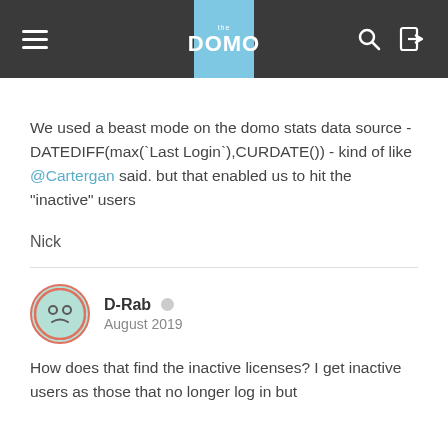DOMO
We used a beast mode on the domo stats data source - DATEDIFF(max(`Last Login`),CURDATE()) - kind of like @Cartergan said. but that enabled us to hit the "inactive" users
Nick
D-Rab
August 2019
How does that find the inactive licenses? I get inactive users as those that no longer log in but